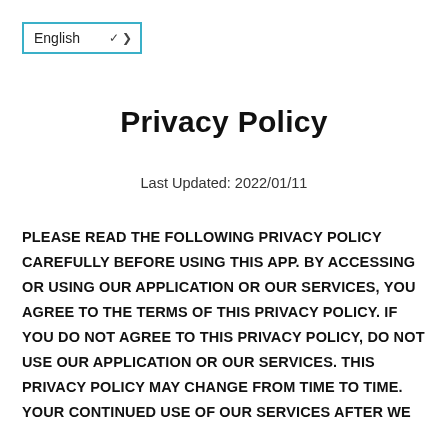English ∨
Privacy Policy
Last Updated: 2022/01/11
PLEASE READ THE FOLLOWING PRIVACY POLICY CAREFULLY BEFORE USING THIS APP. BY ACCESSING OR USING OUR APPLICATION OR OUR SERVICES, YOU AGREE TO THE TERMS OF THIS PRIVACY POLICY. IF YOU DO NOT AGREE TO THIS PRIVACY POLICY, DO NOT USE OUR APPLICATION OR OUR SERVICES. THIS PRIVACY POLICY MAY CHANGE FROM TIME TO TIME. YOUR CONTINUED USE OF OUR SERVICES AFTER WE